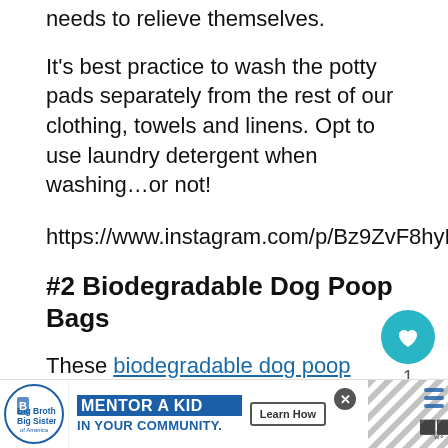needs to relieve themselves.
It's best practice to wash the potty pads separately from the rest of our clothing, towels and linens. Opt to use laundry detergent when washing…or not!
https://www.instagram.com/p/Bz9ZvF8hyBQ/
#2 Biodegradable Dog Poop Bags
These biodegradable dog poop bags are a great way to clean up after your pet and still feel good about your environmental impact.
You can also check out K9 Clean for paper dog poop bags as
[Figure (other): Advertisement banner: Big Brothers Big Sisters - Mentor a Kid in Your Community. Learn How button.]